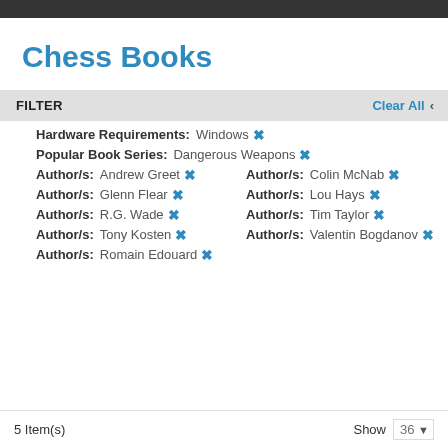Chess Books
FILTER
Clear All
Hardware Requirements: Windows ✕
Popular Book Series: Dangerous Weapons ✕
Author/s: Andrew Greet ✕   Author/s: Colin McNab ✕
Author/s: Glenn Flear ✕   Author/s: Lou Hays ✕
Author/s: R.G. Wade ✕   Author/s: Tim Taylor ✕
Author/s: Tony Kosten ✕   Author/s: Valentin Bogdanov ✕
Author/s: Romain Edouard ✕
5 Item(s)   Show 36